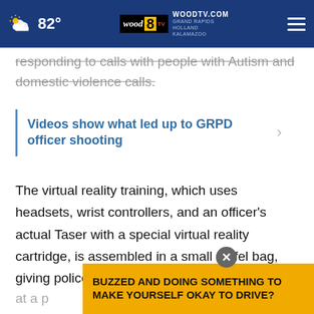82° WOODTV.COM WOOD 8 TV GRAND RAPIDS HOLLAND KALAMAZOO
responding to calls with people with Autism and domestic violence calls.
Videos show what led up to GRPD officer shooting
The virtual reality training, which uses headsets, wrist controllers, and an officer's actual Taser with a special virtual reality cartridge, is assembled in a small duffel bag, giving police departments the ability to implement the training during roll calls or for officers at a p... officer... ead
BUZZED AND DOING SOMETHING TO MAKE YOURSELF OKAY TO DRIVE?